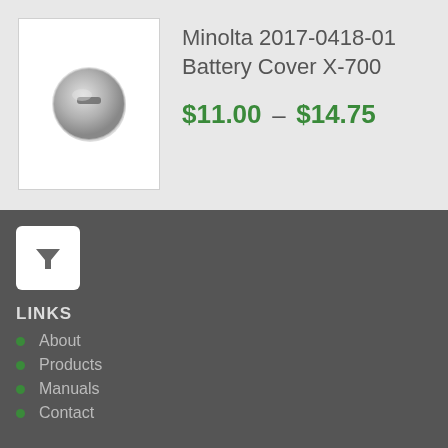[Figure (photo): Minolta battery cover part, round metallic cap with a slot, shown on white background]
Minolta 2017-0418-01 Battery Cover X-700
$11.00 – $14.75
[Figure (other): Filter/funnel icon button in white rounded square]
LINKS
About
Products
Manuals
Contact